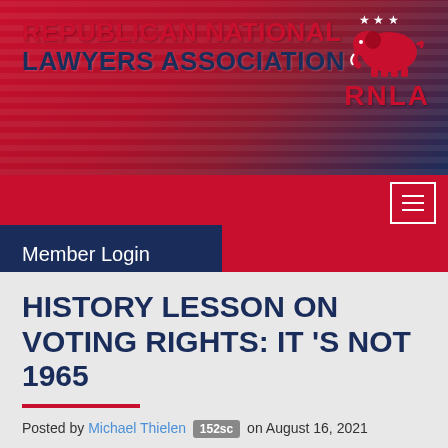REPUBLICAN NATIONAL LAWYERS ASSOCIATION RNLA
[Figure (logo): Republican elephant logo with stars above and RNLA text below]
Member Login
HISTORY LESSON ON VOTING RIGHTS: IT 'S NOT 1965
Posted by Michael Thielen 152sc on August 16, 2021
While the public is rightly focused on the Biden administration's